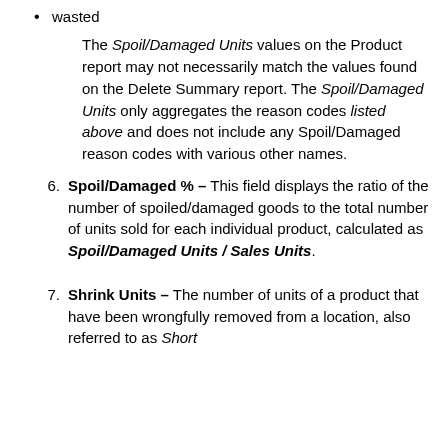wasted
The Spoil/Damaged Units values on the Product report may not necessarily match the values found on the Delete Summary report. The Spoil/Damaged Units only aggregates the reason codes listed above and does not include any Spoil/Damaged reason codes with various other names.
Spoil/Damaged % – This field displays the ratio of the number of spoiled/damaged goods to the total number of units sold for each individual product, calculated as Spoil/Damaged Units / Sales Units.
Shrink Units – The number of units of a product that have been wrongfully removed from a location, also referred to as Short